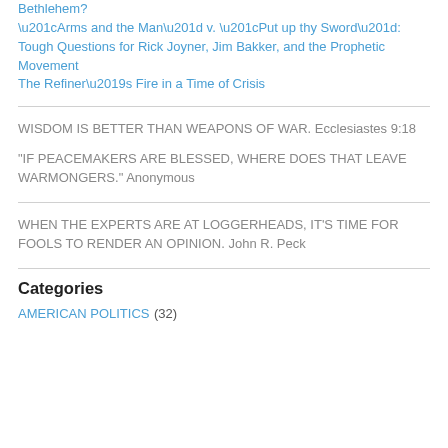Bethlehem?
“Arms and the Man” v. “Put up thy Sword”: Tough Questions for Rick Joyner, Jim Bakker, and the Prophetic Movement
The Refiner’s Fire in a Time of Crisis
WISDOM IS BETTER THAN WEAPONS OF WAR. Ecclesiastes 9:18
"IF PEACEMAKERS ARE BLESSED, WHERE DOES THAT LEAVE WARMONGERS." Anonymous
WHEN THE EXPERTS ARE AT LOGGERHEADS, IT’S TIME FOR FOOLS TO RENDER AN OPINION. John R. Peck
Categories
AMERICAN POLITICS (32)